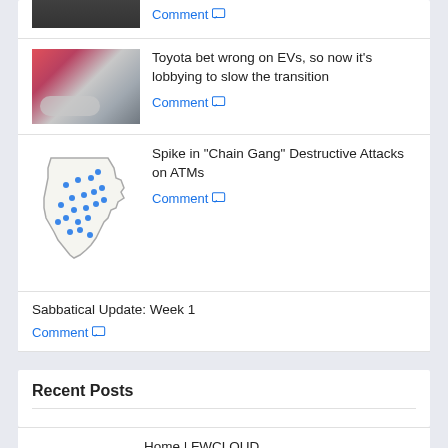[Figure (photo): Partial thumbnail of a car, cropped at top]
Comment
[Figure (photo): Photo of a Toyota electric vehicle]
Toyota bet wrong on EVs, so now it's lobbying to slow the transition
Comment
[Figure (map): Map of Texas with blue location pins marking ATM attack sites]
Spike in “Chain Gang” Destructive Attacks on ATMs
Comment
Sabbatical Update: Week 1
Comment
Recent Posts
[Figure (logo): FWCloud logo with blue cloud shape and orange/blue FWCloud text]
Home | FWCLOUD
Comment